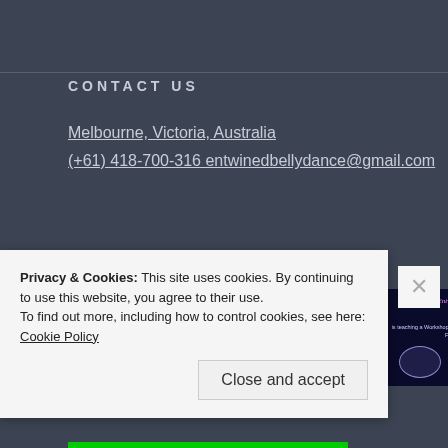CONTACT US
Melbourne, Victoria, Australia
(+61) 418-700-316  entwinedbellydance@gmail.com
INSTAGRAM
[Figure (photo): Four Instagram photos: blonde woman portrait, purple-lit belly dancer, dancer with red fabric on blue background, and promotional poster for Laura Entwined workshop]
Privacy & Cookies: This site uses cookies. By continuing to use this website, you agree to their use.
To find out more, including how to control cookies, see here: Cookie Policy
Close and accept